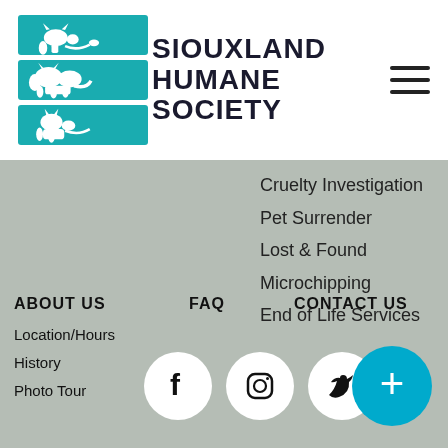[Figure (logo): Siouxland Humane Society logo with teal icon showing cat, dog, and rabbit silhouettes and organization name text]
Cruelty Investigation
Pet Surrender
Lost & Found
Microchipping
End of Life Services
ABOUT US
FAQ
CONTACT US
Location/Hours
History
Photo Tour
[Figure (infographic): Social media icons: Facebook, Instagram, Twitter (circular white buttons) and a teal plus button]